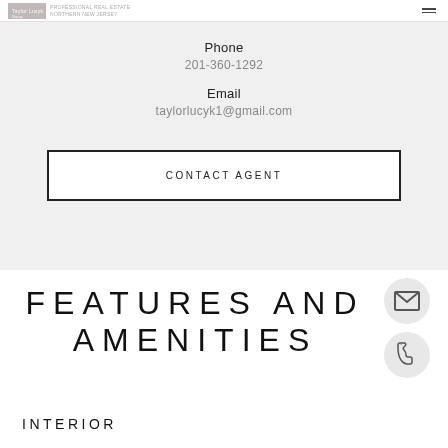Taylor Lucyk Group | Professional Real Estate, Northern New Jersey
Phone
201-360-1292
Email
taylorlucyk1@gmail.com
CONTACT AGENT
FEATURES AND AMENITIES
INTERIOR